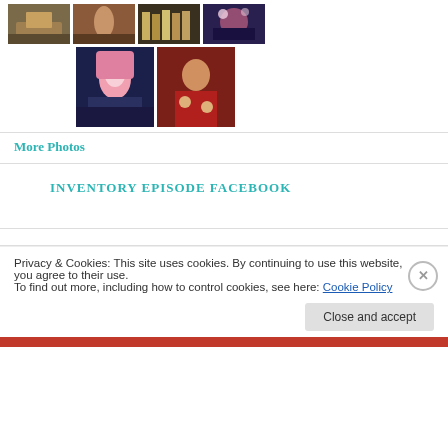[Figure (photo): Grid of thumbnail photos showing virtual world/game characters and scenes: row of 4 small thumbnails on top, then 2 larger thumbnails below centered]
More Photos
INVENTORY EPISODE FACEBOOK
Privacy & Cookies: This site uses cookies. By continuing to use this website, you agree to their use.
To find out more, including how to control cookies, see here: Cookie Policy
Close and accept